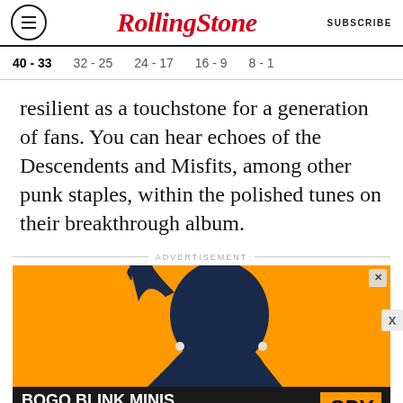RollingStone | SUBSCRIBE
40 - 33
32 - 25
24 - 17
16 - 9
8 - 1
resilient as a touchstone for a generation of fans. You can hear echoes of the Descendents and Misfits, among other punk staples, within the polished tunes on their breakthrough album.
ADVERTISEMENT
[Figure (photo): Advertisement image: person silhouette on orange background with text BOGO BLINK MINIS GET YOURS NOW and SPY logo]